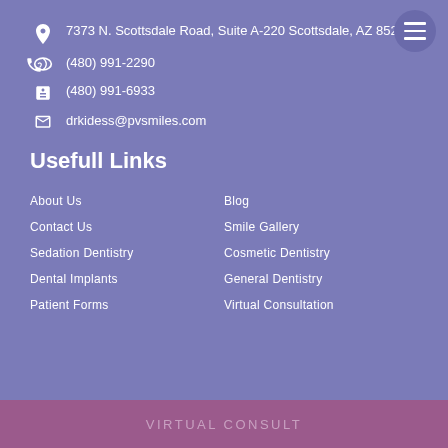7373 N. Scottsdale Road, Suite A-220 Scottsdale, AZ 85253
(480) 991-2290
(480) 991-6933
drkidess@pvsmiles.com
Usefull Links
About Us
Blog
Contact Us
Smile Gallery
Sedation Dentistry
Cosmetic Dentistry
Dental Implants
General Dentistry
Patient Forms
Virtual Consultation
VIRTUAL CONSULT